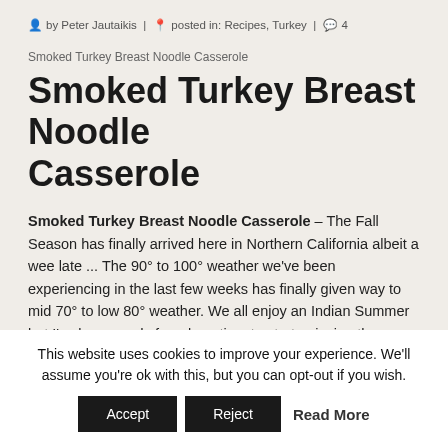by Peter Jautaikis | posted in: Recipes, Turkey | 4
Smoked Turkey Breast Noodle Casserole
Smoked Turkey Breast Noodle Casserole
Smoked Turkey Breast Noodle Casserole – The Fall Season has finally arrived here in Northern California albeit a wee late ... The 90° to 100° weather we've been experiencing in the last few weeks has finally given way to mid 70° to low 80° weather. We all enjoy an Indian Summer but I've been ready for a long time to start enjoying the cooler weather that Fall offers.Time to start dusting off those sweats and cooking some good old fashioned comfort food.
This website uses cookies to improve your experience. We'll assume you're ok with this, but you can opt-out if you wish. Accept Reject Read More